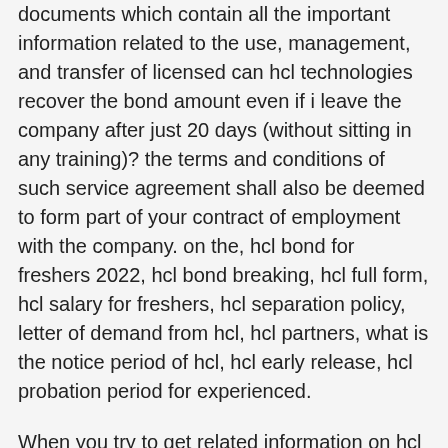documents which contain all the important information related to the use, management, and transfer of licensed can hcl technologies recover the bond amount even if i leave the company after just 20 days (without sitting in any training)? the terms and conditions of such service agreement shall also be deemed to form part of your contract of employment with the company. on the, hcl bond for freshers 2022, hcl bond breaking, hcl full form, hcl salary for freshers, hcl separation policy, letter of demand from hcl, hcl partners, what is the notice period of hcl, hcl early release, hcl probation period for experienced.
When you try to get related information on hcl service agreement, you may look for related areas. service agreement format, hcl technologies, hcl bond for freshers 2021, hcl technologies bond for freshers, hcl bond for freshers 2022, hcl bond breaking, hcl full form, hcl salary for freshers, hcl separation policy, letter of demand from hcl, hcl partners, what is the notice period of hcl, hcl early